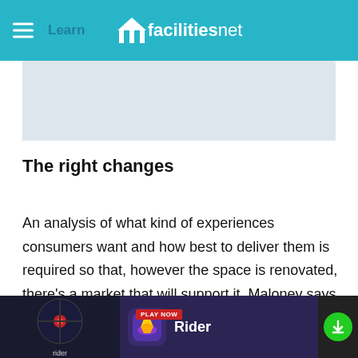facilitiesnet
[Figure (photo): Gray placeholder image area below the header]
The right changes
An analysis of what kind of experiences consumers want and how best to deliver them is required so that, however the space is renovated, there’s a market that will support it, Maloney says. That may mean tearing down the entire structure or it may mean downsizing to 200,000 square feet from 600,000, he says. It could mean adding condos or
[Figure (screenshot): Advertisement banner at the bottom: Rider app ad with play now button, app icon, app name Rider, and a green download button]